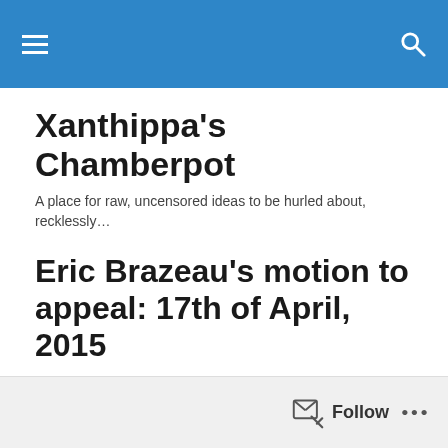Xanthippa's Chamberpot — navigation header bar
Xanthippa's Chamberpot
A place for raw, uncensored ideas to be hurled about, recklessly…
Eric Brazeau's motion to appeal: 17th of April, 2015
For the story of how I came to Toronto for this hearing, please see here.
For the anticipation of the trial before the courtroom opened, please see here.
Follow